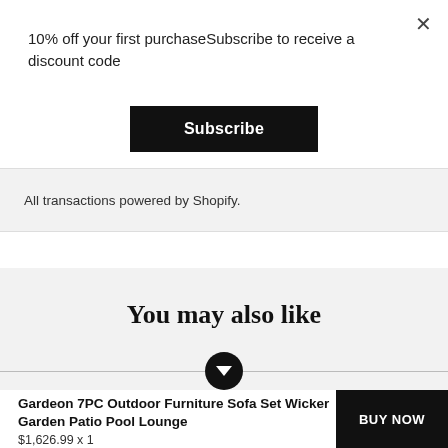10% off your first purchaseSubscribe to receive a discount code
Subscribe
All transactions powered by Shopify.
You may also like
Gardeon 7PC Outdoor Furniture Sofa Set Wicker Garden Patio Pool Lounge
$1,626.99 x 1
BUY NOW